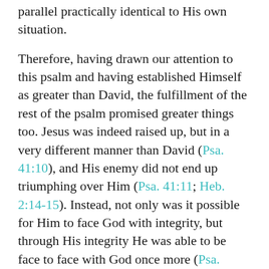parallel practically identical to His own situation.
Therefore, having drawn our attention to this psalm and having established Himself as greater than David, the fulfillment of the rest of the psalm promised greater things too. Jesus was indeed raised up, but in a very different manner than David (Psa. 41:10), and His enemy did not end up triumphing over Him (Psa. 41:11; Heb. 2:14-15). Instead, not only was it possible for Him to face God with integrity, but through His integrity He was able to be face to face with God once more (Psa. 41:12). This victory of the Messiah is thus the victory of the LORD, and the plan that made it possible is a reason to give Him thanks forever (Psa. 41:13).